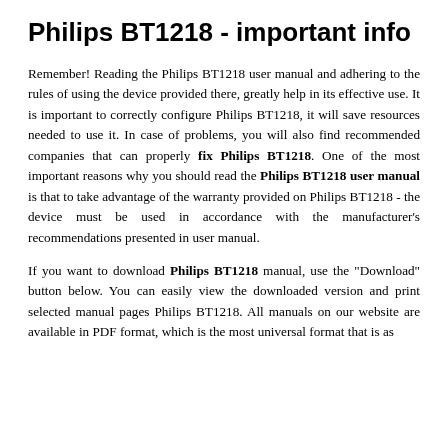Philips BT1218 - important info
Remember! Reading the Philips BT1218 user manual and adhering to the rules of using the device provided there, greatly help in its effective use. It is important to correctly configure Philips BT1218, it will save resources needed to use it. In case of problems, you will also find recommended companies that can properly fix Philips BT1218. One of the most important reasons why you should read the Philips BT1218 user manual is that to take advantage of the warranty provided on Philips BT1218 - the device must be used in accordance with the manufacturer's recommendations presented in user manual.
If you want to download Philips BT1218 manual, use the "Download" button below. You can easily view the downloaded version and print selected manual pages Philips BT1218. All manuals on our website are available in PDF format, which is the most universal format that is as